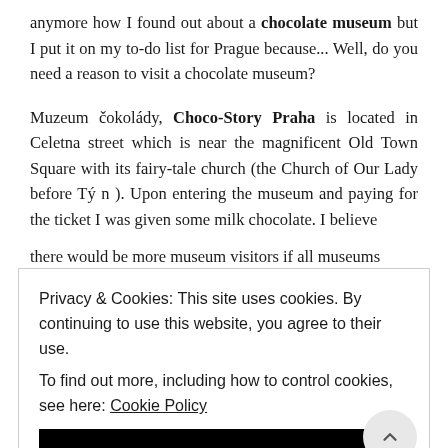anymore how I found out about a chocolate museum but I put it on my to-do list for Prague because... Well, do you need a reason to visit a chocolate museum?
Muzeum čokolády, Choco-Story Praha is located in Celetna street which is near the magnificent Old Town Square with its fairy-tale church (the Church of Our Lady before Tý n ). Upon entering the museum and paying for the ticket I was given some milk chocolate. I believe there would be more museum visitors if all museums
Privacy & Cookies: This site uses cookies. By continuing to use this website, you agree to their use. To find out more, including how to control cookies, see here: Cookie Policy
CLOSE AND ACCEPT
companies who produce chocolate bars and pralines